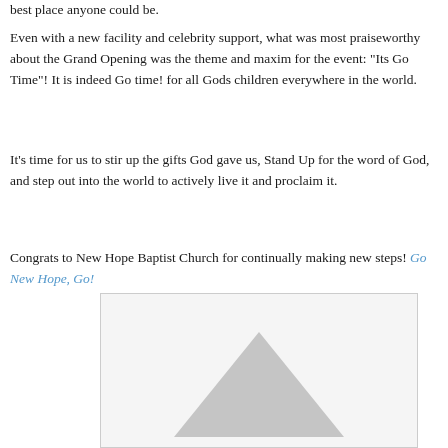best place anyone could be.
Even with a new facility and celebrity support, what was most praiseworthy about the Grand Opening was the theme and maxim for the event: "Its Go Time"! It is indeed Go time! for all Gods children everywhere in the world.
It's time for us to stir up the gifts God gave us, Stand Up for the word of God, and step out into the world to actively live it and proclaim it.
Congrats to New Hope Baptist Church for continually making new steps! Go New Hope, Go!
[Figure (illustration): A gray triangle/arrow shape partially visible at the bottom of the page, inside a light gray bordered box.]